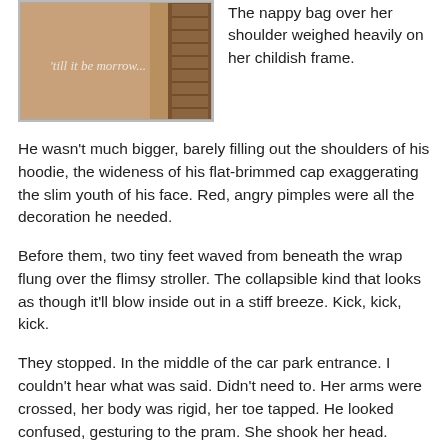[Figure (photo): Photo of a young person with cursive text overlay reading 'till it be morrow...' and a brown woven/basket figure on the right side]
The nappy bag over her shoulder weighed heavily on her childish frame.
He wasn't much bigger, barely filling out the shoulders of his hoodie, the wideness of his flat-brimmed cap exaggerating the slim youth of his face. Red, angry pimples were all the decoration he needed.
Before them, two tiny feet waved from beneath the wrap flung over the flimsy stroller. The collapsible kind that looks as though it'll blow inside out in a stiff breeze. Kick, kick, kick.
They stopped. In the middle of the car park entrance. I couldn't hear what was said. Didn't need to. Her arms were crossed, her body was rigid, her toe tapped. He looked confused, gesturing to the pram. She shook her head.
Kick, kick, kick.
Moments later, a fully-loaded, fully-sick, fully-lowered, fully-